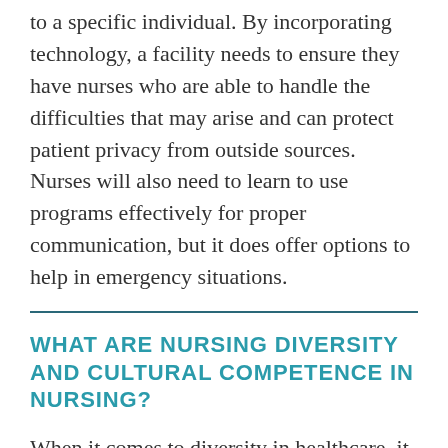to a specific individual. By incorporating technology, a facility needs to ensure they have nurses who are able to handle the difficulties that may arise and can protect patient privacy from outside sources. Nurses will also need to learn to use programs effectively for proper communication, but it does offer options to help in emergency situations.
WHAT ARE NURSING DIVERSITY AND CULTURAL COMPETENCE IN NURSING?
When it comes to diversity in healthcare, it is